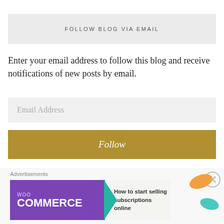FOLLOW BLOG VIA EMAIL
Enter your email address to follow this blog and receive notifications of new posts by email.
Email Address
Follow
SOCIAL MEDIA
Advertisements
[Figure (screenshot): WooCommerce advertisement banner: 'How to start selling subscriptions online']